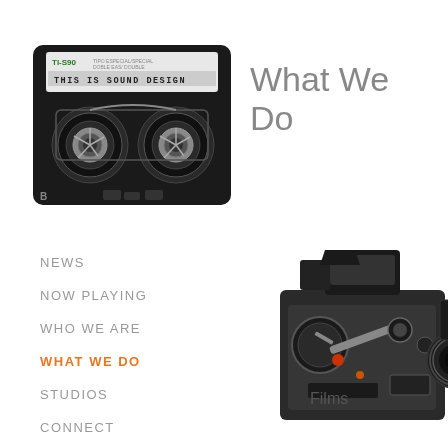[Figure (photo): Vintage cassette tape labeled 'TI-S90 / THIS IS SOUND DESIGN', black with two reels visible]
What We Do
NEWS
NOW PLAYING
WHO WE ARE
WHAT WE DO
STUDIOS
CONNECT
[Figure (photo): Vintage Bolex 16mm film camera, black mechanical body with lens, viewed from front-side angle]
Films